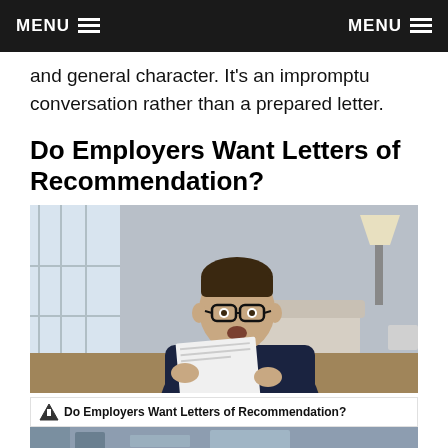MENU   MENU
and general character. It’s an impromptu conversation rather than a prepared letter.
Do Employers Want Letters of Recommendation?
[Figure (photo): A man in a dark suit and glasses sitting at a desk, looking surprised while reading a document, with an office background]
Do Employers Want Letters of Recommendation?
[Figure (photo): Bottom strip of a secondary image, partially visible]